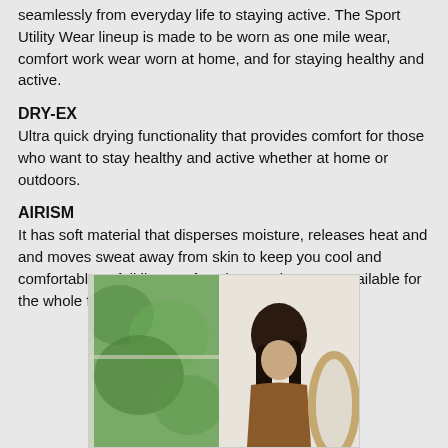seamlessly from everyday life to staying active. The Sport Utility Wear lineup is made to be worn as one mile wear, comfort work wear worn at home, and for staying healthy and active.
DRY-EX
Ultra quick drying functionality that provides comfort for those who want to stay healthy and active whether at home or outdoors.
AIRISM
It has soft material that disperses moisture, releases heat and and moves sweat away from skin to keep you cool and comfortable. A full lineup of AIRism products are available for the whole family, for everyday.
[Figure (photo): A woman with dark hair wearing a brown top, looking down, standing near a large oval mirror and a window with greenery outside.]